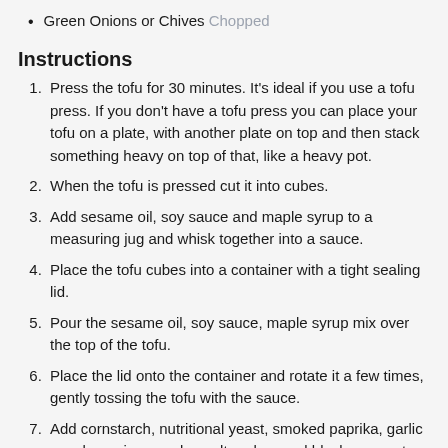Green Onions or Chives Chopped
Instructions
1. Press the tofu for 30 minutes. It's ideal if you use a tofu press. If you don't have a tofu press you can place your tofu on a plate, with another plate on top and then stack something heavy on top of that, like a heavy pot.
2. When the tofu is pressed cut it into cubes.
3. Add sesame oil, soy sauce and maple syrup to a measuring jug and whisk together into a sauce.
4. Place the tofu cubes into a container with a tight sealing lid.
5. Pour the sesame oil, soy sauce, maple syrup mix over the top of the tofu.
6. Place the lid onto the container and rotate it a few times, gently tossing the tofu with the sauce.
7. Add cornstarch, nutritional yeast, smoked paprika, garlic powder, onion powder, salt and ground black pepper to a small bowl and mix together.
8. Sprinkle half the spice mix over the tofu. Put the lid on the